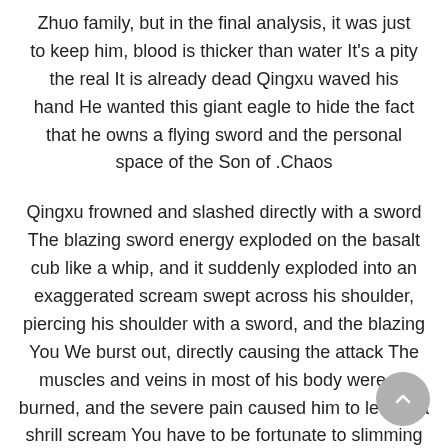Zhuo family, but in the final analysis, it was just to keep him, blood is thicker than water It's a pity the real It is already dead Qingxu waved his hand He wanted this giant eagle to hide the fact that he owns a flying sword and the personal space of the Son of Chaos.
Qingxu frowned and slashed directly with a sword The blazing sword energy exploded on the basalt cub like a whip, and it suddenly exploded into an exaggerated scream swept across his shoulder, piercing his shoulder with a sword, and the blazing You We burst out, directly causing the attack The muscles and veins in most of his body were all burned, and the severe pain caused him to let out a shrill scream You have to be fortunate to slimming pills weight loss report your identity If it is a moment later, I want to spare your life